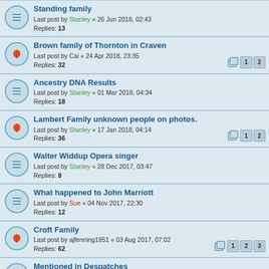Standing family
Last post by Stanley « 26 Jun 2018, 02:43
Replies: 13
Brown family of Thornton in Craven
Last post by Cai « 24 Apr 2018, 23:35
Replies: 32
Ancestry DNA Results
Last post by Stanley « 01 Mar 2018, 04:34
Replies: 18
Lambert Family unknown people on photos.
Last post by Stanley « 17 Jan 2018, 04:14
Replies: 36
Walter Widdup Opera singer
Last post by Stanley « 28 Dec 2017, 03:47
Replies: 8
What happened to John Marriott
Last post by Sue « 04 Nov 2017, 22:30
Replies: 12
Croft Family
Last post by ajfenning1951 « 03 Aug 2017, 07:02
Replies: 62
Mentioned in Despatches
Last post by Gloria « 05 May 2017, 13:03
Replies: 10
Harry Broughton
Last post by Wendyf « 28 Jan 2017, 13:03